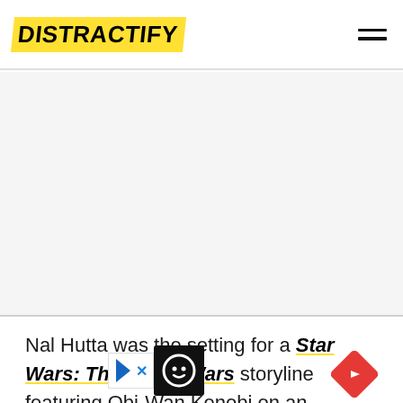DISTRACTIFY
[Figure (other): Large blank advertisement or image placeholder area below the header navigation bar]
Nal Hutta was the setting for a Star Wars: The Clone Wars storyline featuring Obi-Wan Kenobi on an undercover mission. Obi-Wan had to traveled to the Hutt